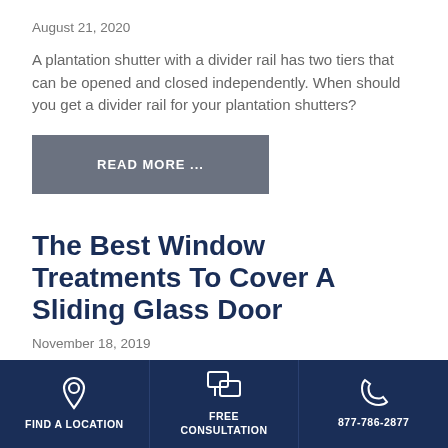August 21, 2020
A plantation shutter with a divider rail has two tiers that can be opened and closed independently. When should you get a divider rail for your plantation shutters?
READ MORE ...
The Best Window Treatments To Cover A Sliding Glass Door
November 18, 2019
Many people believe that the only way you can cover a sliding glass door is with vertical blinds, but is that the
FIND A LOCATION | FREE CONSULTATION | 877-786-2877